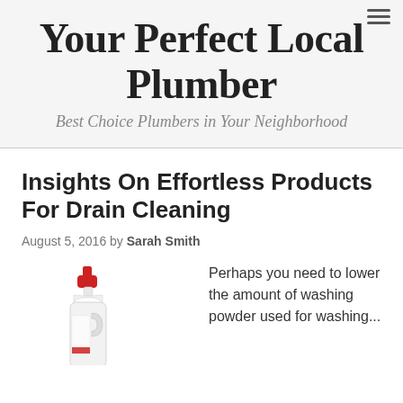Your Perfect Local Plumber
Best Choice Plumbers in Your Neighborhood
Insights On Effortless Products For Drain Cleaning
August 5, 2016 by Sarah Smith
[Figure (photo): A white plastic bottle with a red cap, likely a cleaning product such as washing powder or drain cleaner.]
Perhaps you need to lower the amount of washing powder used for washing...